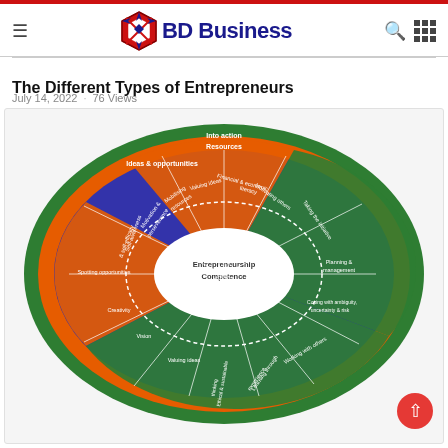BD Business
The Different Types of Entrepreneurs
July 14, 2022 · 76 Views
[Figure (infographic): Circular wheel diagram titled 'Entrepreneurship Competence' showing competency areas divided into colored segments. Outer rings in green and orange. Inner blue ring with white dashed boundary. Three main colored sections: orange (Ideas & opportunities: Spotting opportunities, Creativity, Vision, Valuing ideas), orange/upper (Resources: Motivating others, Financial & economic literacy, Mobilising others), and green (Into action: Taking the initiative, Planning & management, Coping with ambiguity uncertainty & risk, Working with others, Learning through experience, Ethical & sustainable thinking). Center oval reads 'Entrepreneurship Competence'. Outer labels: Into action, Resources, Ideas & opportunities.]